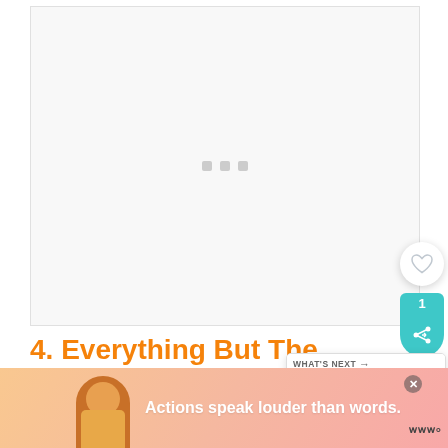[Figure (photo): Large white/light grey image placeholder area with three small grey loading dots in the center, indicating an image that has not loaded yet.]
4. Everything But The Kitchen Sink Bliss Balls
[Figure (infographic): What's Next widget showing a thumbnail of an orange/brown food item and text 'How To Tell If A Sweet...']
[Figure (infographic): Advertisement banner with pink/peach gradient background, illustration of a person, bold white text 'Actions speak louder than words.' and a brand logo.]